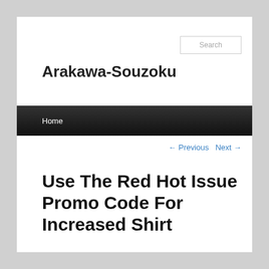Search
Arakawa-Souzoku
Home
← Previous   Next →
Use The Red Hot Issue Promo Code For Increased Shirt